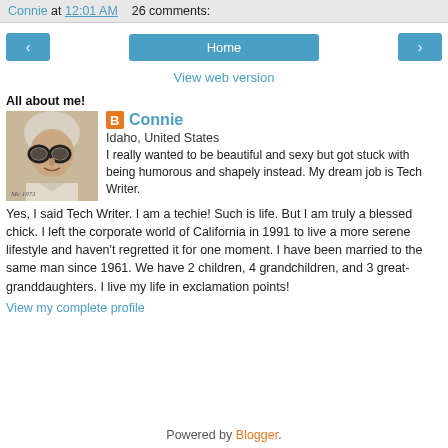Connie at 12:01 AM   26 comments:
< Home >
View web version
All about me!
[Figure (photo): Profile photo of an older woman with white/grey hair and round dark glasses, black and white photograph]
Connie
Idaho, United States
I really wanted to be beautiful and sexy but got stuck with being humorous and shapely instead. My dream job is Tech Writer. Yes, I said Tech Writer. I am a techie! Such is life. But I am truly a blessed chick. I left the corporate world of California in 1991 to live a more serene lifestyle and haven't regretted it for one moment. I have been married to the same man since 1961. We have 2 children, 4 grandchildren, and 3 great-granddaughters. I live my life in exclamation points!
View my complete profile
Powered by Blogger.